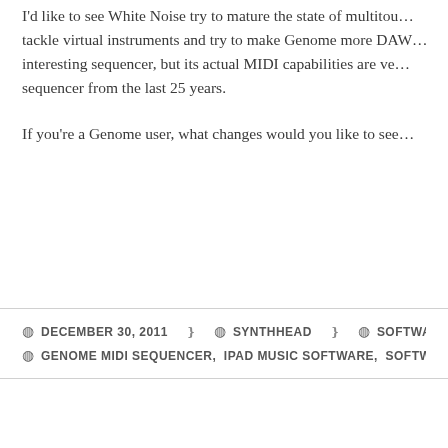I'd like to see White Noise try to mature the state of multitou... tackle virtual instruments and try to make Genome more DAW... interesting sequencer, but its actual MIDI capabilities are ve... sequencer from the last 25 years.
If you're a Genome user, what changes would you like to see...
DECEMBER 30, 2011  SYNTHHEAD  SOFTWARE SE... GENOME MIDI SEQUENCER, IPAD MUSIC SOFTWARE, SOFTW...